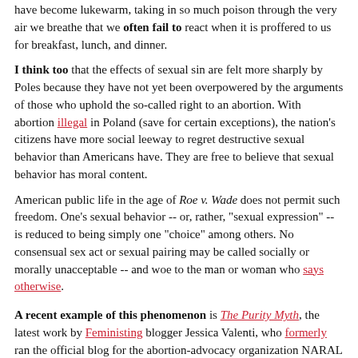have become lukewarm, taking in so much poison through the very air we breathe that we often fail to react when it is proffered to us for breakfast, lunch, and dinner.
I think too that the effects of sexual sin are felt more sharply by Poles because they have not yet been overpowered by the arguments of those who uphold the so-called right to an abortion. With abortion illegal in Poland (save for certain exceptions), the nation's citizens have more social leeway to regret destructive sexual behavior than Americans have. They are free to believe that sexual behavior has moral content.
American public life in the age of Roe v. Wade does not permit such freedom. One's sexual behavior -- or, rather, "sexual expression" -- is reduced to being simply one "choice" among others. No consensual sex act or sexual pairing may be called socially or morally unacceptable -- and woe to the man or woman who says otherwise.
A recent example of this phenomenon is The Purity Myth, the latest work by Feministing blogger Jessica Valenti, who formerly ran the official blog for the abortion-advocacy organization NARAL Pro-Choice America. In it, Valenti, whose previous books include Full Frontal Feminism, castigates several pro-chastity advocates, including self-described practicing Christian with